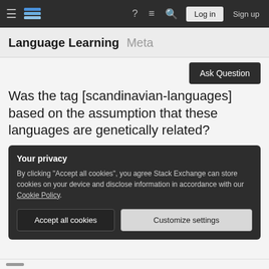Language Learning Meta — Stack Exchange navigation bar with Log in and Sign up
Language Learning Meta
Was the tag [scandinavian-languages] based on the assumption that these languages are genetically related?
Your privacy
By clicking "Accept all cookies", you agree Stack Exchange can store cookies on your device and disclose information in accordance with our Cookie Policy.
Accept all cookies   Customize settings